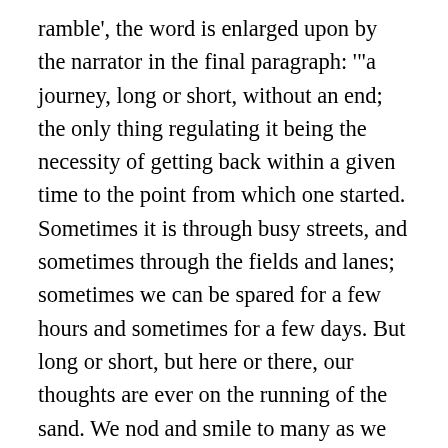ramble', the word is enlarged upon by the narrator in the final paragraph: '"a journey, long or short, without an end; the only thing regulating it being the necessity of getting back within a given time to the point from which one started. Sometimes it is through busy streets, and sometimes through the fields and lanes; sometimes we can be spared for a few hours and sometimes for a few days. But long or short, but here or there, our thoughts are ever on the running of the sand. We nod and smile to many as we pass; with some we stop and talk awhile; and with a few we walk a little way. We have been much interested, and often a little tired. But on the whole we have a pleasant time, and are sorry when 'tis